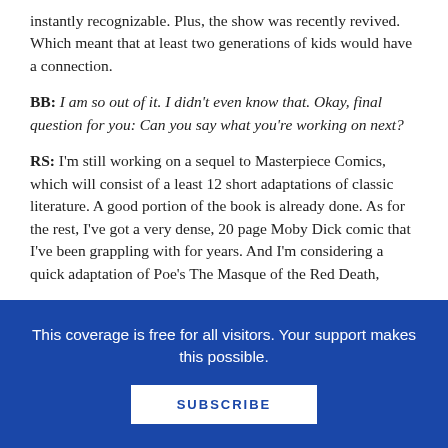instantly recognizable. Plus, the show was recently revived. Which meant that at least two generations of kids would have a connection.
BB: I am so out of it. I didn't even know that. Okay, final question for you: Can you say what you're working on next?
RS: I'm still working on a sequel to Masterpiece Comics, which will consist of a least 12 short adaptations of classic literature. A good portion of the book is already done. As for the rest, I've got a very dense, 20 page Moby Dick comic that I've been grappling with for years.  And I'm considering a quick adaptation of Poe's The Masque of the Red Death,
This coverage is free for all visitors. Your support makes this possible.
SUBSCRIBE